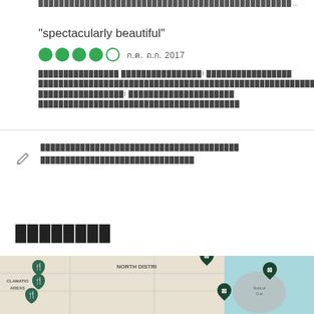████████████████████████████████████████████████████████████████████████████...
"spectacularly beautiful"
● ● ● ● ○  ก.ค. ถ.ก. 2017
████████████████ ████████████████! █████████████████ ████████████████████████████████████████████████████████! ██████████████████! █████████████████████ █████████████████████████████████████
████████████████████████████████████████████  █████████████████████████████
████████
[Figure (map): A map showing North District and Reclamation Areas with dark green location pins and hotel/restaurant icons]